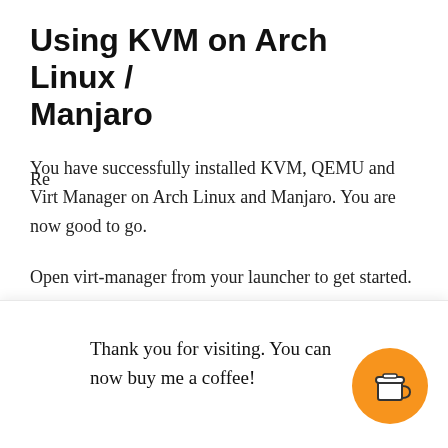Using KVM on Arch Linux / Manjaro
You have successfully installed KVM, QEMU and Virt Manager on Arch Linux and Manjaro. You are now good to go.
Open virt-manager from your launcher to get started.
You can install a Linux or Windows OS Virtual M
Re
Thank you for visiting. You can now buy me a coffee!